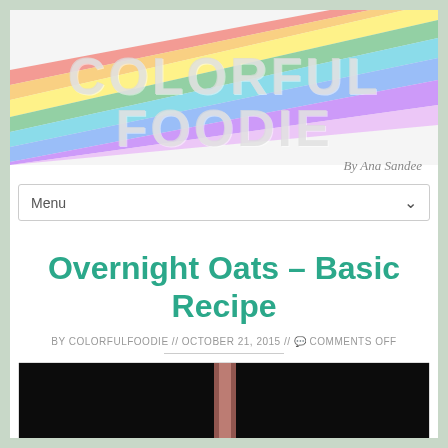[Figure (logo): Colorful Foodie blog logo with rainbow diagonal stripes and large gray text 'COLORFUL FOODIE' overlaid]
By Ana Sandee
Menu
Overnight Oats – Basic Recipe
BY COLORFULFOODIE // OCTOBER 21, 2015 // 💬 COMMENTS OFF
[Figure (photo): Dark photo showing what appears to be a jar with a spoon, predominantly black background]